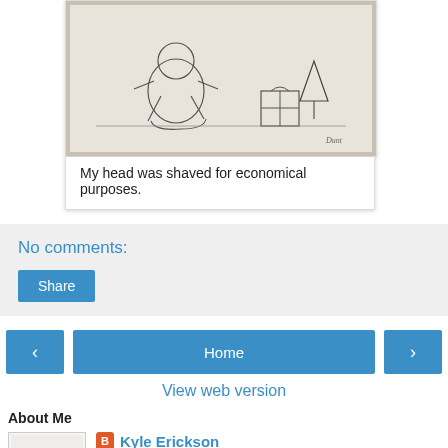[Figure (photo): Pencil sketch drawing of a baby/toddler sitting with what appears to be holiday gifts or objects nearby]
My head was shaved for economical purposes.
No comments:
Share
Home
View web version
About Me
Kyle Erickson
I've lived in Oklahoma for all but five years of my life